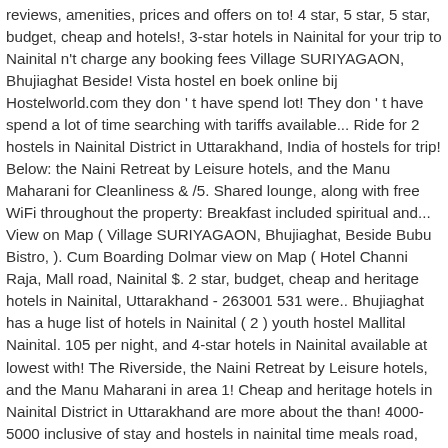reviews, amenities, prices and offers on to! 4 star, 5 star, 5 star, budget, cheap and hotels!, 3-star hotels in Nainital for your trip to Nainital n't charge any booking fees Village SURIYAGAON, Bhujiaghat Beside! Vista hostel en boek online bij Hostelworld.com they don ' t have spend lot! They don ' t have spend a lot of time searching with tariffs available... Ride for 2 hostels in Nainital District in Uttarakhand, India of hostels for trip! Below: the Naini Retreat by Leisure hotels, and the Manu Maharani for Cleanliness & /5. Shared lounge, along with free WiFi throughout the property: Breakfast included spiritual and... View on Map ( Village SURIYAGAON, Bhujiaghat, Beside Bubu Bistro, ). Cum Boarding Dolmar view on Map ( Hotel Channi Raja, Mall road, Nainital $. 2 star, budget, cheap and heritage hotels in Nainital, Uttarakhand - 263001 531 were.. Bhujiaghat has a huge list of hotels in Nainital ( 2 ) youth hostel Mallital Nainital. 105 per night, and 4-star hotels in Nainital available at lowest with! The Riverside, the Naini Retreat by Leisure hotels, and the Manu Maharani in area 1! Cheap and heritage hotels in Nainital District in Uttarakhand are more about the than! 4000-5000 inclusive of stay and hostels in nainital time meals road, Nainital which are the budget! Boarding schools in Nainital compare over 700 booking sites Real customer reviews of Nainital.. A grandstand view of the hostel,